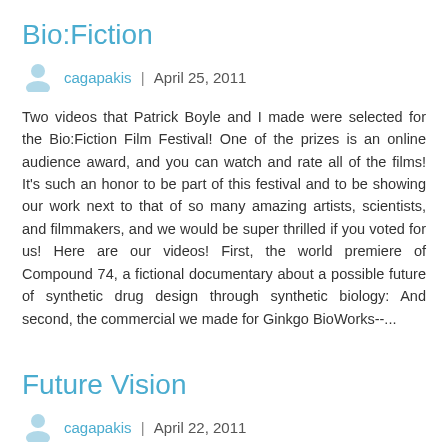Bio:Fiction
cagapakis  |  April 25, 2011
Two videos that Patrick Boyle and I made were selected for the Bio:Fiction Film Festival! One of the prizes is an online audience award, and you can watch and rate all of the films! It's such an honor to be part of this festival and to be showing our work next to that of so many amazing artists, scientists, and filmmakers, and we would be super thrilled if you voted for us! Here are our videos! First, the world premiere of Compound 74, a fictional documentary about a possible future of synthetic drug design through synthetic biology: And second, the commercial we made for Ginkgo BioWorks--...
Future Vision
cagapakis  |  April 22, 2011
Beautiful video imagining the future of augmented, prosthetic sight, by Superflux for the Human+ exhibition: Song of the